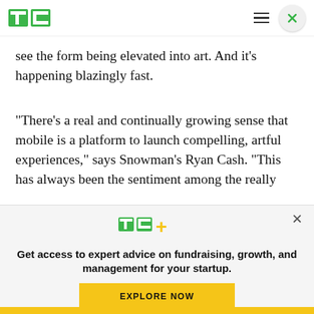TechCrunch header with logo, hamburger menu, and close button
see the form being elevated into art. And it’s happening blazingly fast.
“There’s a real and continually growing sense that mobile is a platform to launch compelling, artful experiences,” says Snowman’s Ryan Cash. “This has always been the sentiment among the really
[Figure (logo): TechCrunch TC+ logo in green with plus sign in yellow/green]
Get access to expert advice on fundraising, growth, and management for your startup.
EXPLORE NOW